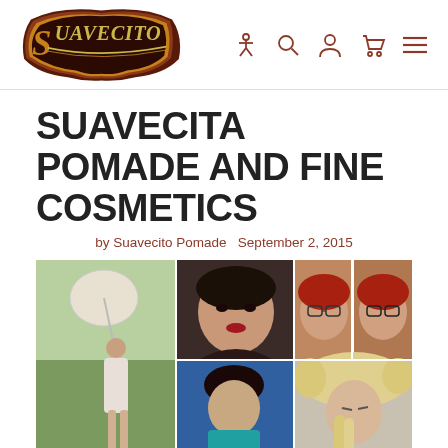Suavecito Pomade — navigation header with logo and icons
SUAVECITA POMADE AND FINE COSMETICS
by Suavecito Pomade   September 2, 2015
[Figure (photo): Photo collage of multiple women with vintage/pin-up hairstyles and makeup, including a woman with a parasol outdoors, a dark-haired woman with red lipstick, a redhead with glasses, a woman with blonde victory rolls, a woman with dark updo, and a dark-haired woman with dark lips]